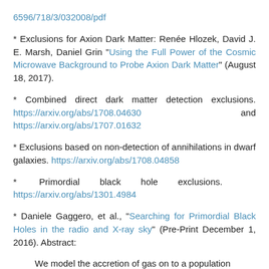6596/718/3/032008/pdf
* Exclusions for Axion Dark Matter: Renée Hlozek, David J. E. Marsh, Daniel Grin "Using the Full Power of the Cosmic Microwave Background to Probe Axion Dark Matter" (August 18, 2017).
* Combined direct dark matter detection exclusions. https://arxiv.org/abs/1708.04630 and https://arxiv.org/abs/1707.01632
* Exclusions based on non-detection of annihilations in dwarf galaxies. https://arxiv.org/abs/1708.04858
* Primordial black hole exclusions. https://arxiv.org/abs/1301.4984
* Daniele Gaggero, et al., "Searching for Primordial Black Holes in the radio and X-ray sky" (Pre-Print December 1, 2016). Abstract:
We model the accretion of gas on to a population